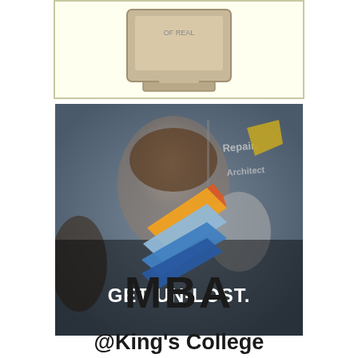[Figure (illustration): Top portion of an illustrated image showing a laptop or school building on a light yellow background, partially visible]
[Figure (photo): Photo of a woman laughing, wearing glasses, with a Pathways/chevron logo overlay and text GET UN-LOST. over the image. Signs in background read Repair, Architects.]
MBA
@King's College